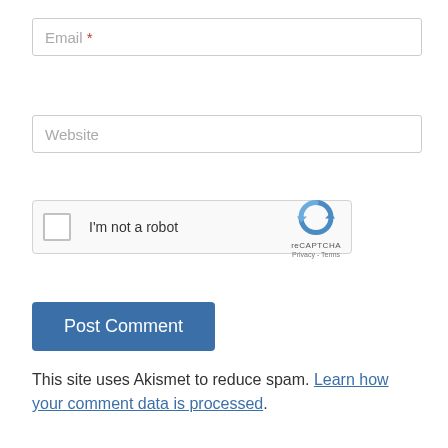Email *
Website
[Figure (screenshot): reCAPTCHA widget with checkbox labeled 'I'm not a robot' and reCAPTCHA logo with Privacy and Terms links]
Post Comment
This site uses Akismet to reduce spam. Learn how your comment data is processed.